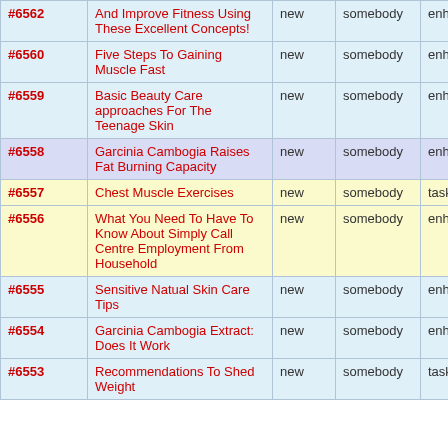| # | Title | col3 | col4 | col5 | col6 |
| --- | --- | --- | --- | --- | --- |
| #6562 (partial) | Develop Muscle And Improve Fitness Using These Excellent Concepts! | new | somebody | enhancement | min... |
| #6560 | Five Steps To Gaining Muscle Fast | new | somebody | enhancement | majo... |
| #6559 | Basic Beauty Care approaches For The Teenage Skin | new | somebody | enhancement | min... |
| #6558 | Garcinia Cambogia Raises Fat Burning Capacity | new | somebody | enhancement | trivia... |
| #6557 | Chest Muscle Exercises | new | somebody | task | critic... |
| #6556 | What You Need To Have To Know About Simply Call Centre Employment From Household | new | somebody | enhancement | critic... |
| #6555 | Sensitive Natual Skin Care Tips | new | somebody | enhancement | min... |
| #6554 | Garcinia Cambogia Extract: Does It Work | new | somebody | enhancement | trivia... |
| #6553 | Recommendations To Shed Weight | new | somebody | task | critic... |